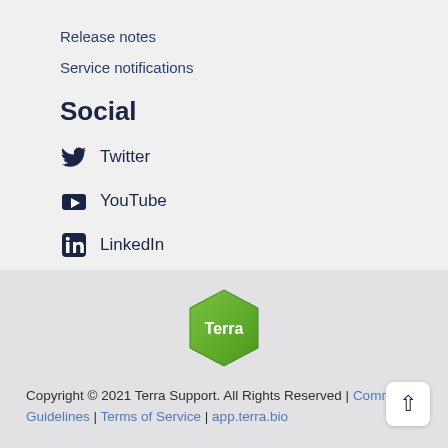Release notes
Service notifications
Social
Twitter
YouTube
LinkedIn
[Figure (logo): Terra hexagon logo in green]
Copyright © 2021 Terra Support. All Rights Reserved | Community Guidelines | Terms of Service | app.terra.bio